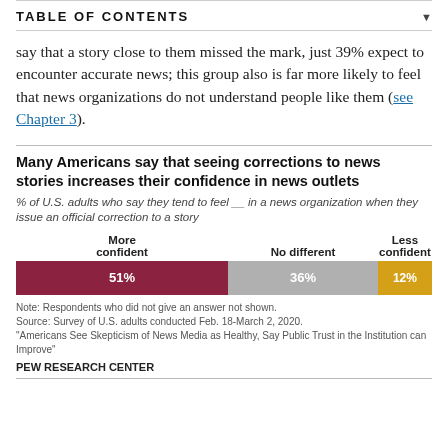TABLE OF CONTENTS
say that a story close to them missed the mark, just 39% expect to encounter accurate news; this group also is far more likely to feel that news organizations do not understand people like them (see Chapter 3).
Many Americans say that seeing corrections to news stories increases their confidence in news outlets
% of U.S. adults who say they tend to feel ___ in a news organization when they issue an official correction to a story
[Figure (stacked-bar-chart): Many Americans say that seeing corrections to news stories increases their confidence in news outlets]
Note: Respondents who did not give an answer not shown.
Source: Survey of U.S. adults conducted Feb. 18-March 2, 2020.
"Americans See Skepticism of News Media as Healthy, Say Public Trust in the Institution can Improve"
PEW RESEARCH CENTER